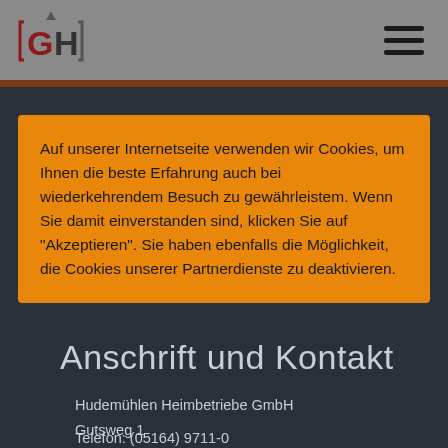[Figure (logo): GH logo with church tower icon, square-bracketed letters G and H in red/dark]
Auf unserer Internetseite verwenden wir Cookies, um Ihnen die beste Erfahrung auch bei wiederkehrendem Besuch zu gewährleistem. Wenn Sie damit einverstanden sind, klicken Sie auf "Akzeptieren". Sie haben ebenfalls die Möglichkeit, die Cookies unserer Partnerdienste zu deaktivieren.
Anschrift und Kontakt
Hudemühlen Heimbetriebe GmbH
Gutsweg 1
29693 Hodenhagen
Telefon: (05164) 9711-0
Telefax: (05164) 9711-97